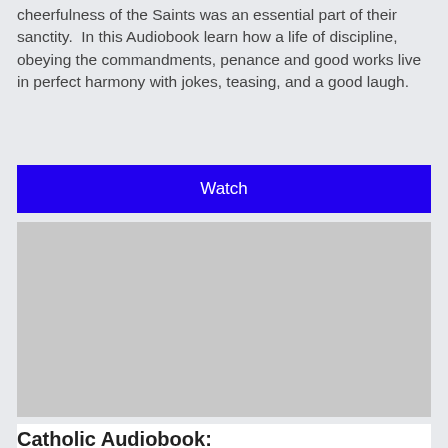cheerfulness of the Saints was an essential part of their sanctity.  In this Audiobook learn how a life of discipline, obeying the commandments, penance and good works live in perfect harmony with jokes, teasing, and a good laugh.
Watch
[Figure (other): Gray placeholder image rectangle]
Catholic Audiobook: